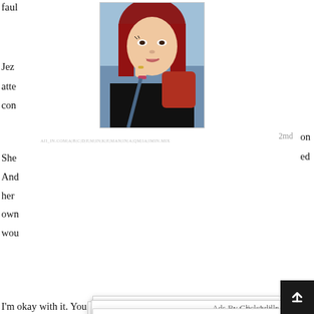faul
[Figure (photo): Selfie photo of a woman with red hair in a car, wearing black top with red accents]
Jez
atte
con
She
And
her
own
wou
on
ed
2md
Ads By ClickAdilla
[Figure (advertisement): Ad overlay: He Came Inside Her Thai Pussy - Exclusive Free Asian Xxx videos Enjoy]
He Came Inside Her Thai Pussy
Exclusive Free Asian Xxx videos Enjoy
"It's
Jez
[Figure (photo): Video thumbnail showing Asian woman, partially censored adult content]
"I kr
It's n
but
nd.
s
2j5
I'm okay with it. You aren't as sublime and happy as